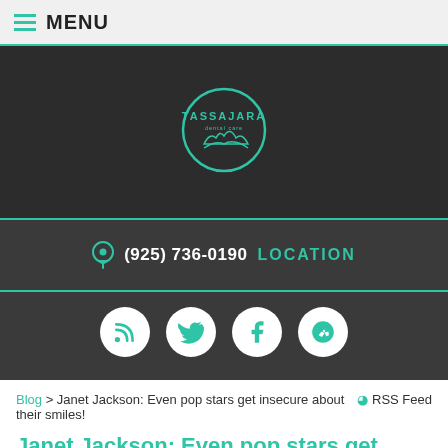MENU
[Figure (logo): Tassajara Dental Care circular logo with teal border and mountain/wave graphic]
(925) 736-0190    LOCATION
[Figure (infographic): Social media icons: RSS, Twitter, Facebook, Yelp]
Blog > Janet Jackson: Even pop stars get insecure about their smiles!    RSS Feed
Janet Jackson: Even pop stars get insecure about their smiles!
Author: Anonymous
posted: Jun, 06, 2019,